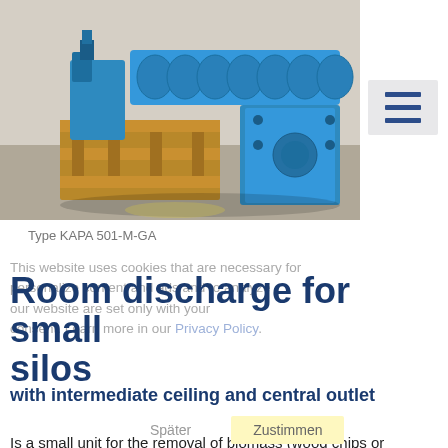[Figure (photo): Industrial blue screw conveyor / room discharge unit (type KAPA 501-M-GA) on a wooden pallet in a factory setting. The machine is painted blue and features a spiral auger and a motor.]
[Figure (other): Hamburger menu icon button (three horizontal lines) on a light gray background]
Type KAPA 501-M-GA
Room discharge for small silos
with intermediate ceiling and central outlet
Is a small unit for the removal of biomass (wood chips or